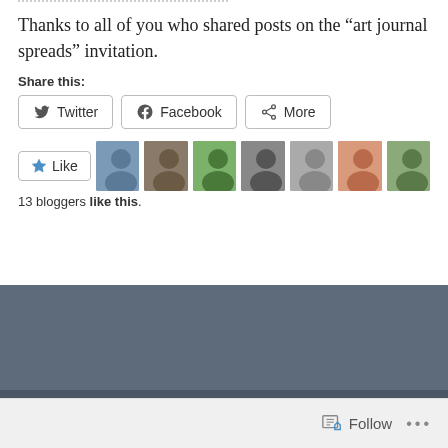Thanks to all of you who shared posts on the “art journal spreads” invitation.
Share this:
[Figure (screenshot): Social share buttons: Twitter, Facebook, More]
[Figure (screenshot): Like button and 11 blogger avatars, 13 bloggers like this.]
13 bloggers like this.
[Figure (screenshot): Dark gray footer section with Follow button and ellipsis (...)]